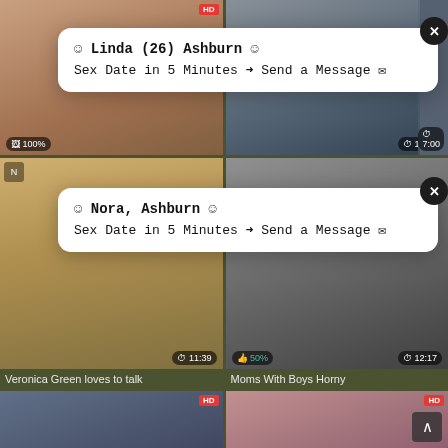[Figure (screenshot): Adult video thumbnail grid with two popup notification overlays. Top row: two video thumbnails. Middle row: two video thumbnails with titles 'Veronica Green loves to talk' and 'Moms With Boys Horny'. Bottom row: two more video thumbnails. Two popup ads overlay the top and middle sections showing 'Linda (26) Ashburn' and 'Nora, Ashburn' with 'Sex Date in 5 Minutes' messages.]
Veronica Green loves to talk
Moms With Boys Horny